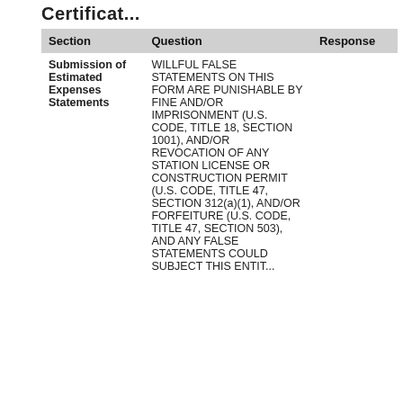Certificat...
| Section | Question | Response |
| --- | --- | --- |
| Submission of Estimated Expenses Statements | WILLFUL FALSE STATEMENTS ON THIS FORM ARE PUNISHABLE BY FINE AND/OR IMPRISONMENT (U.S. CODE, TITLE 18, SECTION 1001), AND/OR REVOCATION OF ANY STATION LICENSE OR CONSTRUCTION PERMIT (U.S. CODE, TITLE 47, SECTION 312(a)(1), AND/OR FORFEITURE (U.S. CODE, TITLE 47, SECTION 503), AND ANY FALSE STATEMENTS COULD SUBJECT THIS ENTITY... |  |